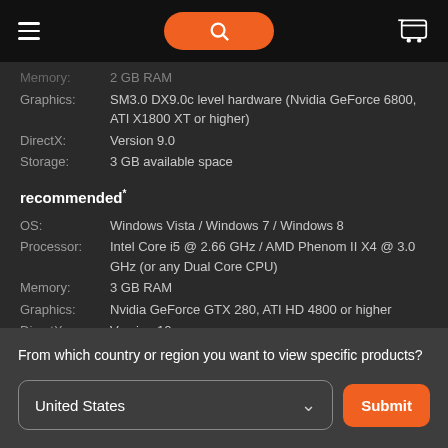Navigation bar with hamburger menu, search button, and cart icon
Memory: 2 GB RAM
Graphics: SM3.0 DX9.0c level hardware (Nvidia GeForce 6800, ATI X1800 XT or higher)
DirectX: Version 9.0
Storage: 3 GB available space
recommended*
OS: Windows Vista / Windows 7 / Windows 8
Processor: Intel Core i5 @ 2.66 GHz / AMD Phenom II X4 @ 3.0 GHz (or any Dual Core CPU)
Memory: 3 GB RAM
Graphics: Nvidia GeForce GTX 280, ATI HD 4800 or higher
DirectX: Version 10
Storage: 3 GB available space
From which country or region you want to view specific products?
United States
Submit